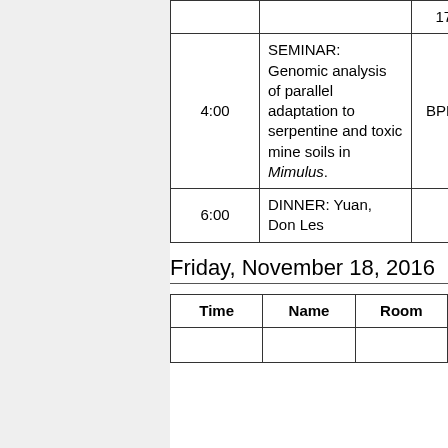| Time | Name | Room |
| --- | --- | --- |
|  |  | 171B) |
| 4:00 | SEMINAR: Genomic analysis of parallel adaptation to serpentine and toxic mine soils in Mimulus. | BPB 131 |
| 6:00 | DINNER: Yuan, Don Les |  |
Friday, November 18, 2016
| Time | Name | Room |
| --- | --- | --- |